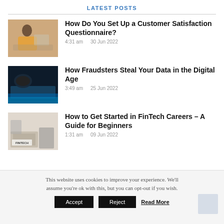LATEST POSTS
How Do You Set Up a Customer Satisfaction Questionnaire?
4:31 am    30 Jun 2022
How Fraudsters Steal Your Data in the Digital Age
3:49 am    25 Jun 2022
How to Get Started in FinTech Careers – A Guide for Beginners
1:31 am    09 Jun 2022
This website uses cookies to improve your experience. We'll assume you're ok with this, but you can opt-out if you wish.